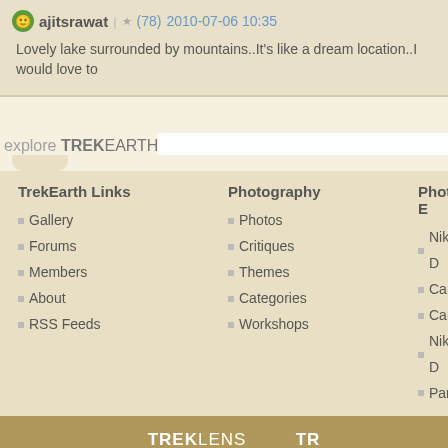ajitsrawat | ★ (78) 2010-07-06 10:35
Lovely lake surrounded by mountains..It's like a dream location..I would love to
explore TREKEARTH
TrekEarth Links
Gallery
Forums
Members
About
RSS Feeds
Photography
Photos
Critiques
Themes
Categories
Workshops
Photo E
Nikon D
Canon
Canon
Nikon D
Panase
[Figure (logo): TREKLENS logo with grid of boxes]
[Figure (logo): TR logo with box]
Copyright © 2018 MH Sub I, LLC dba Internet Brands. All rig
Advertise | Privacy Po